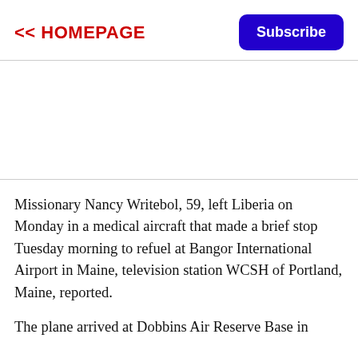<< HOMEPAGE
Missionary Nancy Writebol, 59, left Liberia on Monday in a medical aircraft that made a brief stop Tuesday morning to refuel at Bangor International Airport in Maine, television station WCSH of Portland, Maine, reported.
The plane arrived at Dobbins Air Reserve Base in